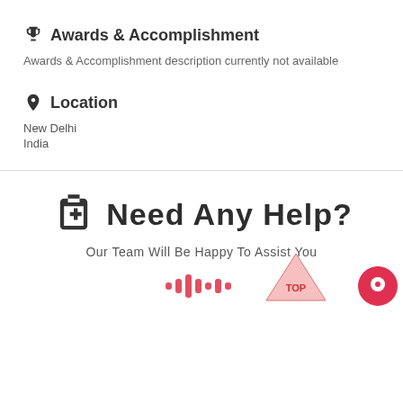🏆 Awards & Accomplishment
Awards & Accomplishment description currently not available
📍 Location
New Delhi
India
Need Any Help?
Our Team Will Be Happy To Assist You